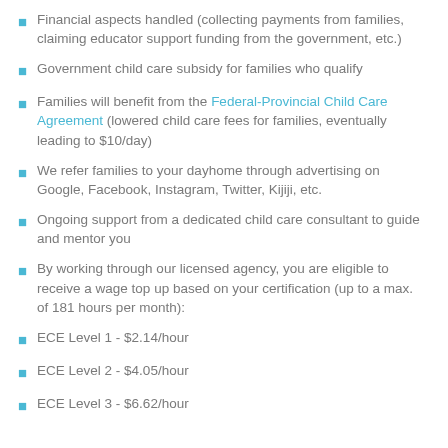Financial aspects handled (collecting payments from families, claiming educator support funding from the government, etc.)
Government child care subsidy for families who qualify
Families will benefit from the Federal-Provincial Child Care Agreement (lowered child care fees for families, eventually leading to $10/day)
We refer families to your dayhome through advertising on Google, Facebook, Instagram, Twitter, Kijiji, etc.
Ongoing support from a dedicated child care consultant to guide and mentor you
By working through our licensed agency, you are eligible to receive a wage top up based on your certification (up to a max. of 181 hours per month):
ECE Level 1 - $2.14/hour
ECE Level 2 - $4.05/hour
ECE Level 3 - $6.62/hour